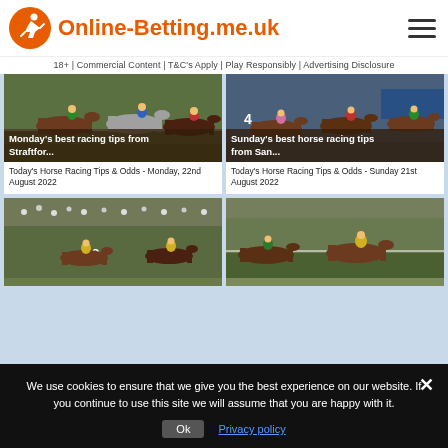Online-Betting.me.uk
18+ | Commercial Content | T&C's Apply | Play Responsibly | Advertising Disclosure
[Figure (photo): Horse racing photo – Monday Straftford tips]
Today's Horse Racing Tips & Odds - Monday, 22nd August 2022
[Figure (photo): Horse racing photo – Sunday San tips]
Today's Horse Racing Tips & Odds - Sunday 21st August 2022
[Figure (photo): Horse racing photo – bottom left]
[Figure (photo): Horse racing photo – bottom right]
We use cookies to ensure that we give you the best experience on our website. If you continue to use this site we will assume that you are happy with it.
Ok   Privacy policy